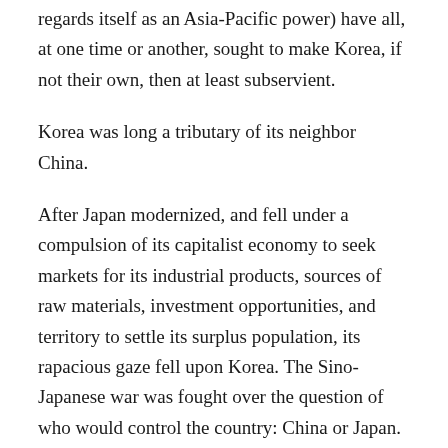regards itself as an Asia-Pacific power) have all, at one time or another, sought to make Korea, if not their own, then at least subservient.
Korea was long a tributary of its neighbor China.
After Japan modernized, and fell under a compulsion of its capitalist economy to seek markets for its industrial products, sources of raw materials, investment opportunities, and territory to settle its surplus population, its rapacious gaze fell upon Korea. The Sino-Japanese war was fought over the question of who would control the country: China or Japan. The Japanese won the war and therefore won Korea.
Russia was also interested in Korea. Japan and Russia